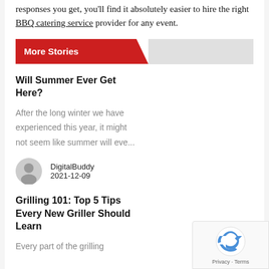responses you get, you'll find it absolutely easier to hire the right BBQ catering service provider for any event.
More Stories
Will Summer Ever Get Here?
After the long winter we have experienced this year, it might not seem like summer will eve...
DigitalBuddy
2021-12-09
Grilling 101: Top 5 Tips Every New Griller Should Learn
Every part of the grilling